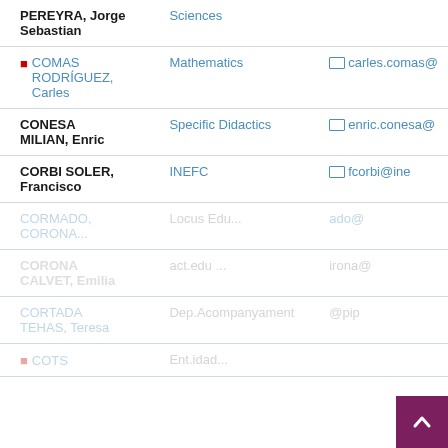| Name | Department | Email |
| --- | --- | --- |
| PEREYRA, Jorge Sebastian | Sciences |  |
| COMAS RODRÍGUEZ, Carles | Mathematics | carles.comas@ |
| CONESA MILIAN, Enric | Specific Didactics | enric.conesa@ |
| CORBI SOLER, Francisco | INEFC | fcorbi@ine |
| CORMADO, ... | ... | ado@ |
| CORONA CALVET, Emilia | ... | irona@ |
| CORTADA TEHAS, Teresa | Dep.Acompanyament | @pip |
This web uses first-party and third-party cookies with the aim of providing a better browsing experience. By continuing to use the site you agree to accept its use. Privacy policy
Accept